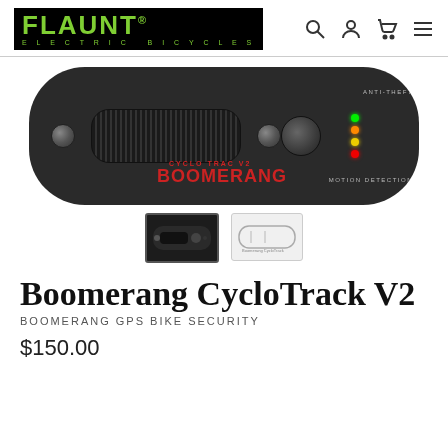[Figure (logo): Flaunt Electric Bicycles logo — black background, green text FLAUNT with registered trademark symbol, subtitle ELECTRIC BICYCLES]
[Figure (photo): Boomerang CycloTrack V2 GPS bike security device, top view, dark gray/black capsule-shaped device with speaker grille, screws, power button, LED indicators (green, orange, yellow, red), anti-theft and motion detection labels, BOOMERANG branding in red]
[Figure (photo): Thumbnail 1: Small dark view of the Boomerang device front]
[Figure (photo): Thumbnail 2: Small light/line art view of the Boomerang device]
Boomerang CycloTrack V2
BOOMERANG GPS BIKE SECURITY
$150.00